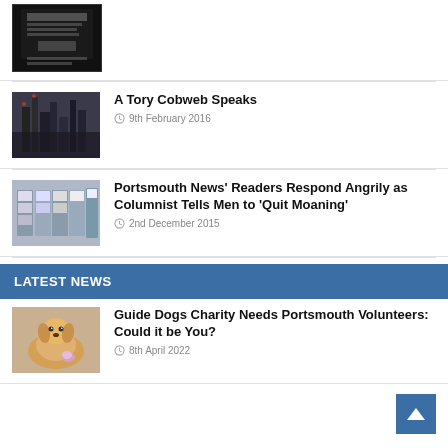[Figure (screenshot): Thumbnail of a mobile app screenshot with dark background]
A Tory Cobweb Speaks
9th February 2016
Portsmouth News' Readers Respond Angrily as Columnist Tells Men to 'Quit Moaning'
2nd December 2015
LATEST NEWS
Guide Dogs Charity Needs Portsmouth Volunteers: Could it be You?
8th April 2022